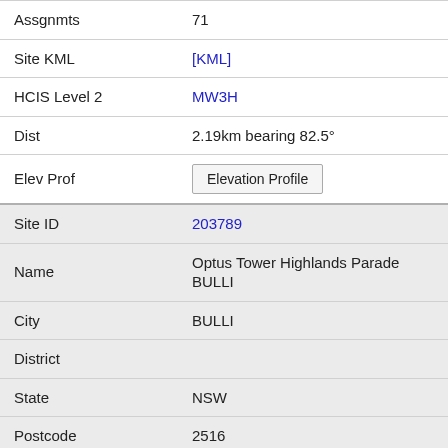| Field | Value |
| --- | --- |
| Assgnmts | 71 |
| Site KML | [KML] |
| HCIS Level 2 | MW3H |
| Dist | 2.19km bearing 82.5° |
| Elev Prof | Elevation Profile |
| Site ID | 203789 |
| Name | Optus Tower Highlands Parade BULLI |
| City | BULLI |
| District |  |
| State | NSW |
| Postcode | 2516 |
| Assgnmts | 2 |
| Site KML | [KML] |
| HCIS Level 2 | MW3H |
| Dist | 2.22km bearing 359.3° |
| Elev Prof | Elevation Profile |